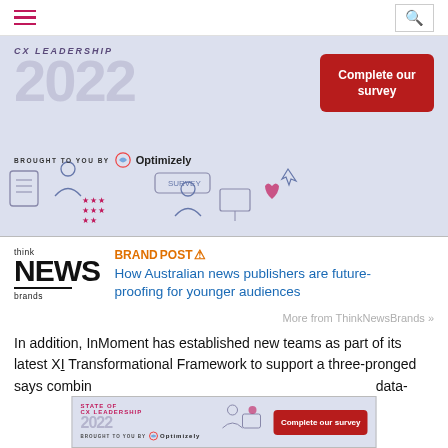Navigation header with hamburger menu and search icon
[Figure (infographic): CX Leadership 2022 survey advertisement banner with 'Complete our survey' button, 'Brought to you by Optimizely' text, and illustration of people doing a survey]
[Figure (logo): Think News Brands logo — 'think' small text above large 'NEWS' bold text, horizontal line, 'brands' text below]
BRANDPOST! How Australian news publishers are future-proofing for younger audiences
More from ThinkNewsBrands »
In addition, InMoment has established new teams as part of its latest XI Transformational Framework to support a three-pronged... says combin... data-
[Figure (infographic): Bottom sticky ad: State of CX Leadership 2022, Complete our survey button, Brought to you by Optimizely]